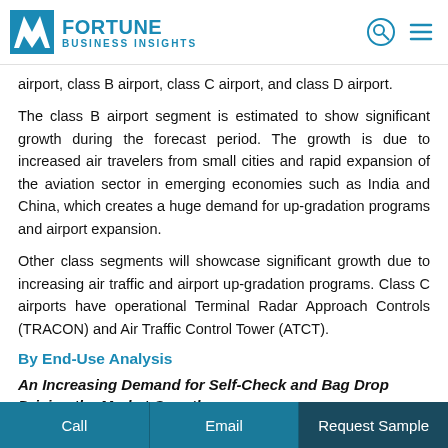Fortune Business Insights
airport, class B airport, class C airport, and class D airport.
The class B airport segment is estimated to show significant growth during the forecast period. The growth is due to increased air travelers from small cities and rapid expansion of the aviation sector in emerging economies such as India and China, which creates a huge demand for up-gradation programs and airport expansion.
Other class segments will showcase significant growth due to increasing air traffic and airport up-gradation programs. Class C airports have operational Terminal Radar Approach Controls (TRACON) and Air Traffic Control Tower (ATCT).
By End-Use Analysis
An Increasing Demand for Self-Check and Bag Drop Driving the Market Growth
Call | Email | Request Sample